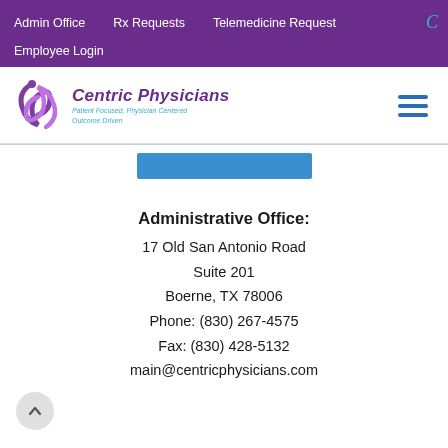Admin Office  Rx Requests  Telemedicine Request  Employee Login
[Figure (logo): Centric Physicians logo with purple swirl icon and tagline: Patient Focused, Physician Centered, Outcome Driven]
[Figure (other): Blue rectangular button bar centered on page]
Administrative Office:
17 Old San Antonio Road
Suite 201
Boerne, TX 78006
Phone: (830) 267-4575
Fax: (830) 428-5132
main@centricphysicians.com